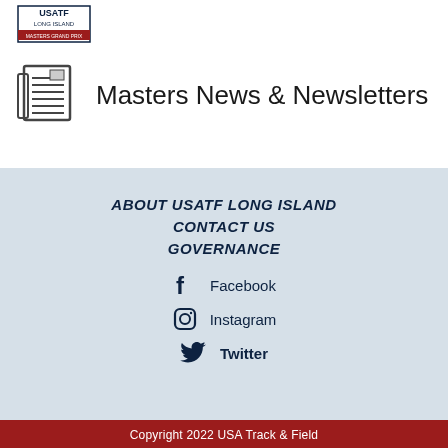[Figure (logo): USATF Long Island Masters Grand Prix logo]
Masters News & Newsletters
ABOUT USATF LONG ISLAND
CONTACT US
GOVERNANCE
Facebook
Instagram
Twitter
Copyright 2022 USA Track & Field